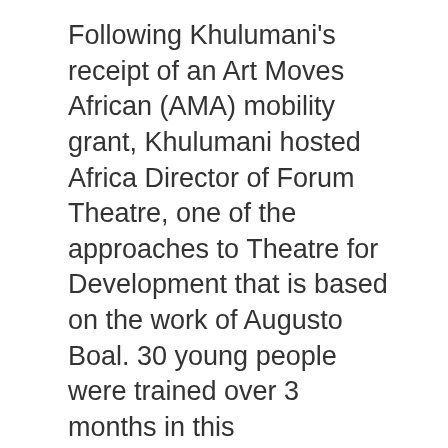Following Khulumani's receipt of an Art Moves African (AMA) mobility grant, Khulumani hosted Africa Director of Forum Theatre, one of the approaches to Theatre for Development that is based on the work of Augusto Boal. 30 young people were trained over 3 months in this methodology by Mr Mohamadou Diol from Dakar, Senegal, using the Orlando East premises of the YMCA as our training base.
The training led to the production of a manual of exercises which we use in our ongoing work every week. On Mondays, our team offers a 3-hour long programme in the Krugersdorp Correctional Facility to 20 long-term offenders who envision Forum Theatre being a tool for them to share with young